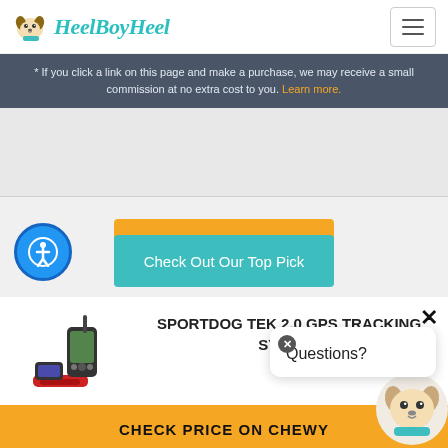[Figure (logo): HeelBoyHeel website logo with dog icon and teal cursive text]
* If you click a link on this page and make a purchase, we may receive a small commission at no extra cost to you. Learn more.
[Figure (screenshot): Gray content/ad placeholder area]
[Figure (infographic): White section with orange CHECK PRICE ON CHEWY button partially visible, teal Check Out Our Top Pick overlay button, and blue circular accessibility icon]
[Figure (photo): SportDog TEK 2.0 GPS Tracking System product image showing device and collar]
SPORTDOG TEK 2.0 GPS TRACKING SYSTEM
[Figure (infographic): Questions? popup with close button and dog avatar chatbot icon]
CHECK PRICE ON CHEWY